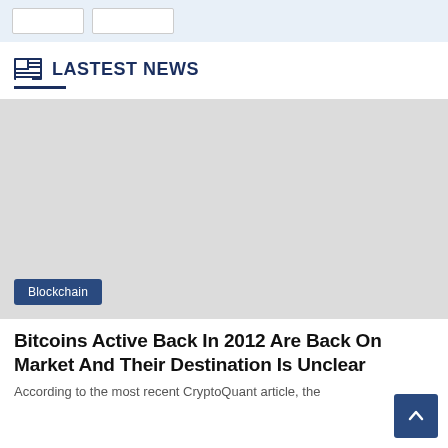[Figure (screenshot): Top navigation bar with input fields and button on light blue background]
LASTEST NEWS
[Figure (photo): Large gray placeholder image for news article with Blockchain category tag]
Bitcoins Active Back In 2012 Are Back On Market And Their Destination Is Unclear
According to the most recent CryptoQuant article, the